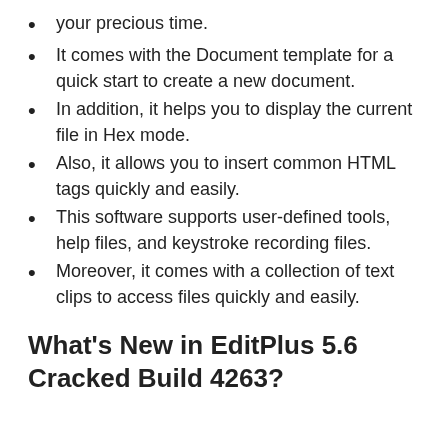your precious time.
It comes with the Document template for a quick start to create a new document.
In addition, it helps you to display the current file in Hex mode.
Also, it allows you to insert common HTML tags quickly and easily.
This software supports user-defined tools, help files, and keystroke recording files.
Moreover, it comes with a collection of text clips to access files quickly and easily.
What’s New in EditPlus 5.6 Cracked Build 4263?